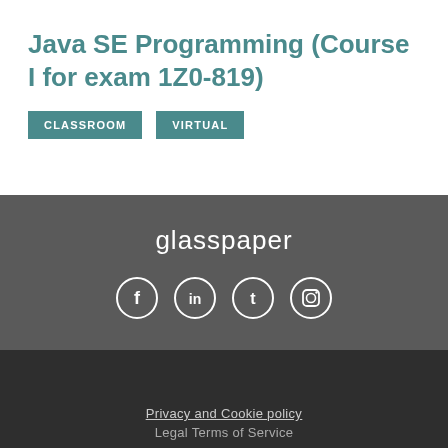Java SE Programming (Course I for exam 1Z0-819)
CLASSROOM   VIRTUAL
[Figure (logo): glasspaper brand name logo in white text on dark grey background]
[Figure (infographic): Four social media icons in white circles: Facebook (f), LinkedIn (in), Tumblr (t), Instagram, on dark grey background]
Privacy and Cookie policy
Legal Terms of Service